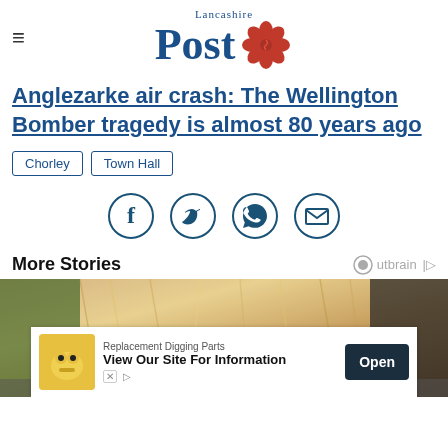Lancashire Post
Anglezarke air crash: The Wellington Bomber tragedy is almost 80 years ago
Chorley
Town Hall
[Figure (infographic): Social sharing icons: Facebook, Twitter, WhatsApp, Email]
More Stories
[Figure (photo): Close-up photo of blond hair]
[Figure (infographic): Advertisement banner: Replacement Digging Parts - View Our Site For Information - Open button]